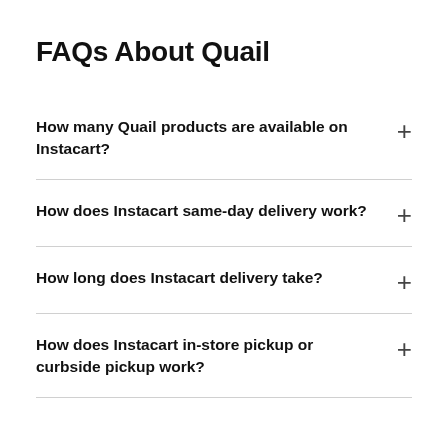FAQs About Quail
How many Quail products are available on Instacart?
How does Instacart same-day delivery work?
How long does Instacart delivery take?
How does Instacart in-store pickup or curbside pickup work?